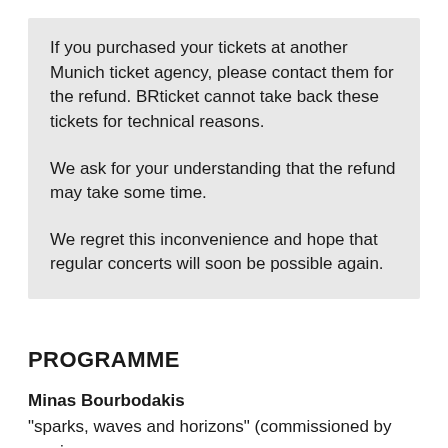If you purchased your tickets at another Munich ticket agency, please contact them for the refund. BRticket cannot take back these tickets for technical reasons.

We ask for your understanding that the refund may take some time.

We regret this inconvenience and hope that regular concerts will soon be possible again.
PROGRAMME
Minas Bourbodakis
"sparks, waves and horizons" (commissioned by musica